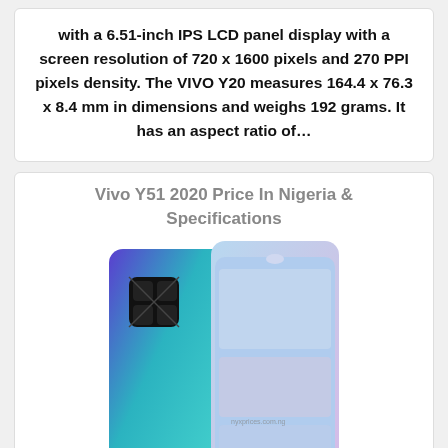with a 6.51-inch IPS LCD panel display with a screen resolution of 720 x 1600 pixels and 270 PPI pixels density. The VIVO Y20 measures 164.4 x 76.3 x 8.4 mm in dimensions and weighs 192 grams. It has an aspect ratio of…
Vivo Y51 2020 Price In Nigeria & Specifications
[Figure (photo): Vivo Y51 2020 smartphone shown from back and front, in blue/purple gradient color]
Vivo Y51 2020 Price In Nigeria, RAM, Memory, Camera, Sensor, Battery Capacity, Network And